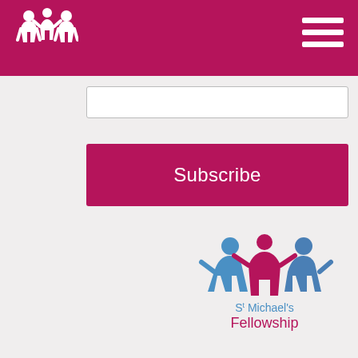[Figure (logo): St Michael's Fellowship white logo (people figures) on pink/magenta header bar]
[Figure (other): Hamburger menu icon (three white horizontal lines) on top right of header]
[Figure (other): White input/text box for email subscription]
Subscribe
[Figure (logo): St Michael's Fellowship full color logo with blue and pink people figures and text 'St Michael's Fellowship']
Registered Charity - Number 1035820 Company Limited by Guarantee - 2914273
Terms and Conditions
[Figure (other): Social media icons row: Facebook, Twitter, YouTube, Instagram]